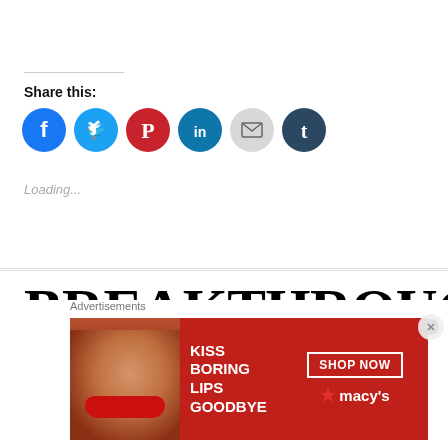Share this:
[Figure (infographic): Row of six social share icon circles: Facebook (blue), Twitter (light blue), Pinterest (red), LinkedIn (dark blue), Email (gray), Tumblr (dark navy)]
Loading...
BREAKTHROUGH
Advertisements
[Figure (photo): Advertisement banner: red background with woman's face and red lips. Text reads: KISS BORING LIPS GOODBYE. SHOP NOW. Macy's star logo.]